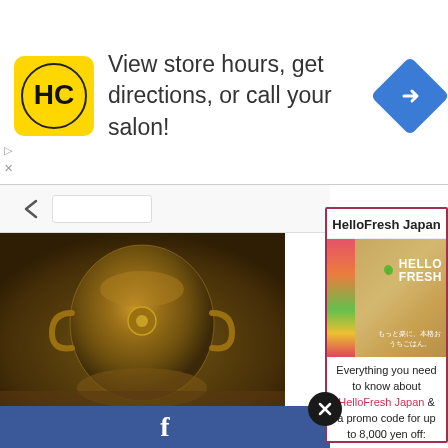[Figure (screenshot): Advertisement banner: HC salon logo (yellow square), text 'View store hours, get directions, or call your salon!', blue diamond navigation icon on right. Small play and X icons on left edge.]
View store hours, get directions, or call your salon!
[Figure (screenshot): Website screenshot showing two overlapping panels: left panel with bronze vase photo and partially visible article text 'After cleaning t... put flowers in th... understated.', right panel is HelloFresh Japan popup ad with logo image and promotional text. Facebook bar at bottom of left panel.]
HelloFresh Japan
[Figure (photo): HelloFresh Japan branded box/packaging photo with green leaf logo and HELLO FRESH text in white, Japanese tagline below]
Everything you need to know about HelloFresh Japan & a promo code for up to 8,000 yen off: TENI22
Read It Now
After cleaning t put flowers in th understated.